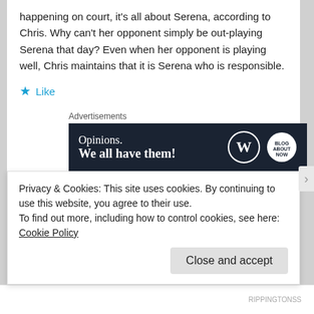happening on court, it's all about Serena, according to Chris. Why can't her opponent simply be out-playing Serena that day? Even when her opponent is playing well, Chris maintains that it is Serena who is responsible.
★ Like
[Figure (screenshot): WordPress Advertisements banner: 'Opinions. We all have them!' with WordPress and another logo on dark navy background]
Alan // July 25, 2016 at 7:21 pm // Reply
Privacy & Cookies: This site uses cookies. By continuing to use this website, you agree to their use.
To find out more, including how to control cookies, see here: Cookie Policy
Close and accept